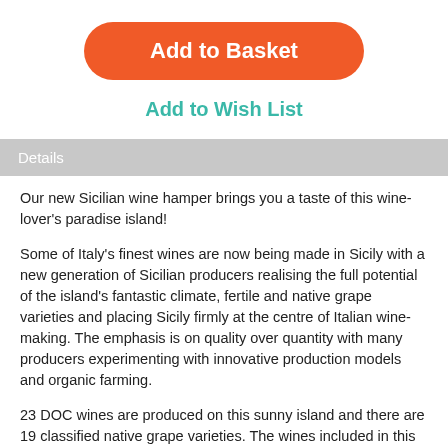Add to Basket
Add to Wish List
Details
Our new Sicilian wine hamper brings you a taste of this wine-lover's paradise island!
Some of Italy's finest wines are now being made in Sicily with a new generation of Sicilian producers realising the full potential of the island's fantastic climate, fertile and native grape varieties and placing Sicily firmly at the centre of Italian wine-making. The emphasis is on quality over quantity with many producers experimenting with innovative production models and organic farming.
23 DOC wines are produced on this sunny island and there are 19 classified native grape varieties. The wines included in this hamper are all organic, natural and suitable for vegetarians.